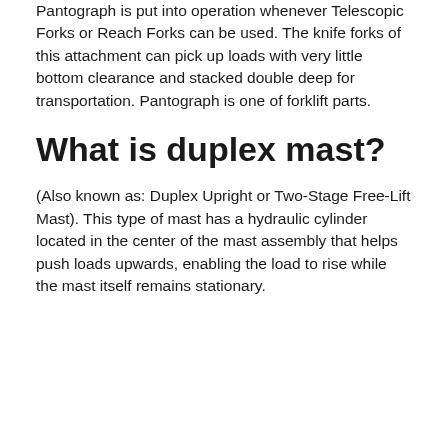Pantograph is put into operation whenever Telescopic Forks or Reach Forks can be used. The knife forks of this attachment can pick up loads with very little bottom clearance and stacked double deep for transportation. Pantograph is one of forklift parts.
What is duplex mast?
(Also known as: Duplex Upright or Two-Stage Free-Lift Mast). This type of mast has a hydraulic cylinder located in the center of the mast assembly that helps push loads upwards, enabling the load to rise while the mast itself remains stationary.